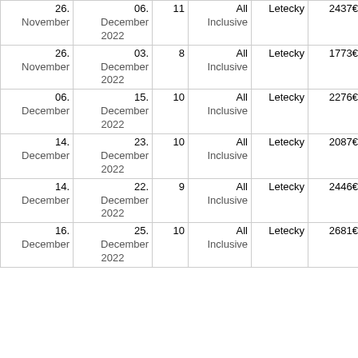| From | To | Days | Board | Transport | Price |  |
| --- | --- | --- | --- | --- | --- | --- |
| 26. November | 06. December 2022 | 11 | All Inclusive | Letecky | 2437€ | Vybrat |
| 26. November | 03. December 2022 | 8 | All Inclusive | Letecky | 1773€ | Vybrat |
| 06. December | 15. December 2022 | 10 | All Inclusive | Letecky | 2276€ | Vybrat |
| 14. December | 23. December 2022 | 10 | All Inclusive | Letecky | 2087€ | Vybrat |
| 14. December | 22. December 2022 | 9 | All Inclusive | Letecky | 2446€ | Vybrat |
| 16. December | 25. December 2022 | 10 | All Inclusive | Letecky | 2681€ | Vybrat |